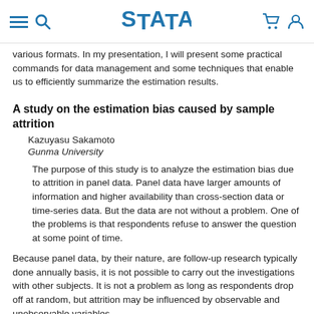Stata — [menu icon] [search icon] [cart icon] [user icon]
various formats. In my presentation, I will present some practical commands for data management and some techniques that enable us to efficiently summarize the estimation results.
A study on the estimation bias caused by sample attrition
Kazuyasu Sakamoto
Gunma University
The purpose of this study is to analyze the estimation bias due to attrition in panel data. Panel data have larger amounts of information and higher availability than cross-section data or time-series data. But the data are not without a problem. One of the problems is that respondents refuse to answer the question at some point of time.
Because panel data, by their nature, are follow-up research typically done annually basis, it is not possible to carry out the investigations with other subjects. It is not a problem as long as respondents drop off at random, but attrition may be influenced by observable and unobservable variables.
In such cases, we should not overlook the impact of attrition on estimation. In this presentation, I investigate the feature